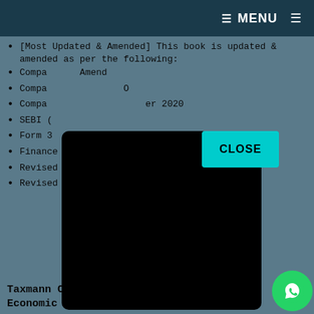≡ MENU ≡
[Most Updated & Amended] This book is updated & amended as per the following:
Companies (Amendment) [partially visible]
Companies [...] O [partially visible]
Companies [...] er 2020 [partially visible]
SEBI ([partially visible]
Form 3[...] (Revised) [partially visible]
Finance Act 2021
Revised Code of Ethics
Revised Statement of Peer Review 2020
Taxmann Cracker Corporate and Economic Laws Pankaj Garg